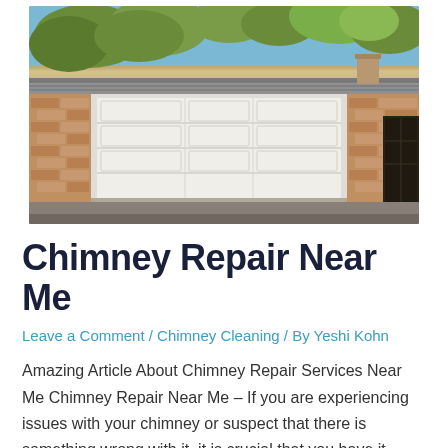[Figure (photo): Exterior photo of a single-story brick house showing a wide white double-car garage door, brick facade on sides, concrete driveway, and trees/sky visible above the roofline. A chimney is partially visible on the right side of the roof.]
Chimney Repair Near Me
Leave a Comment / Chimney Cleaning / By Yeshi Kohn
Amazing Article About Chimney Repair Services Near Me Chimney Repair Near Me – If you are experiencing issues with your chimney or suspect that there is something wrong with it, it is crucial that you have it inspected and repaired as soon as possible by a professional. A damaged